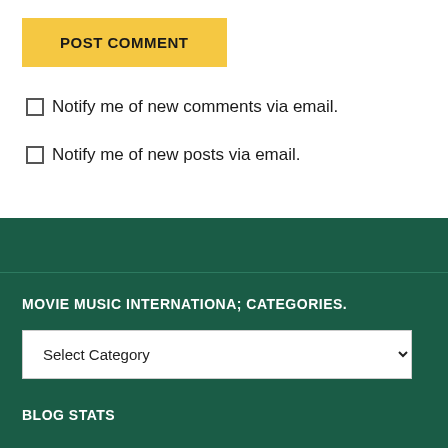POST COMMENT
Notify me of new comments via email.
Notify me of new posts via email.
MOVIE MUSIC INTERNATIONA; CATEGORIES.
Select Category
BLOG STATS